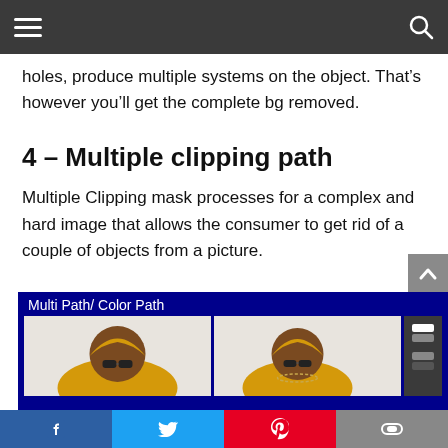Navigation bar with hamburger menu and search icon
holes, produce multiple systems on the object. That’s however you’ll get the complete bg removed.
4 – Multiple clipping path
Multiple Clipping mask processes for a complex and hard image that allows the consumer to get rid of a couple of objects from a picture.
[Figure (screenshot): Screenshot of a Photoshop multi path / color path demonstration showing two images of a person in a yellow hoodie side by side on a dark blue background, with the label 'Multi Path/ Color Path']
Social share bar with Facebook, Twitter, Pinterest, and another share button